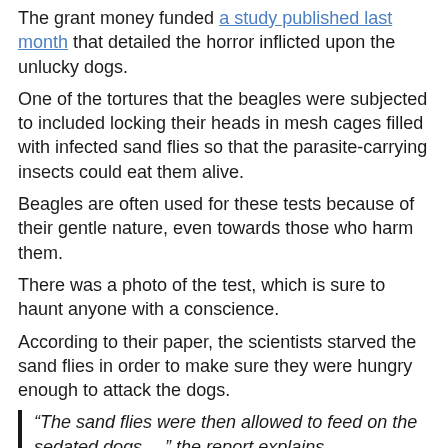The grant money funded a study published last month that detailed the horror inflicted upon the unlucky dogs.
One of the tortures that the beagles were subjected to included locking their heads in mesh cages filled with infected sand flies so that the parasite-carrying insects could eat them alive.
Beagles are often used for these tests because of their gentle nature, even towards those who harm them.
There was a photo of the test, which is sure to haunt anyone with a conscience.
According to their paper, the scientists starved the sand flies in order to make sure they were hungry enough to attack the dogs.
“The sand flies were then allowed to feed on the sedated dogs….” the report explains.